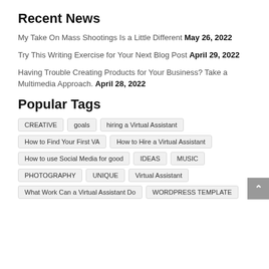Recent News
My Take On Mass Shootings Is a Little Different May 26, 2022
Try This Writing Exercise for Your Next Blog Post April 29, 2022
Having Trouble Creating Products for Your Business? Take a Multimedia Approach. April 28, 2022
Popular Tags
CREATIVE
goals
hiring a Virtual Assistant
How to Find Your First VA
How to Hire a Virtual Assistant
How to use Social Media for good
IDEAS
MUSIC
PHOTOGRAPHY
UNIQUE
Virtual Assistant
What Work Can a Virtual Assistant Do
WORDPRESS TEMPLATE